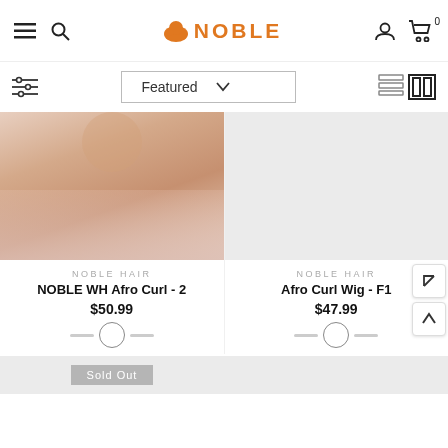Noble Hair - e-commerce navigation bar with hamburger menu, search, Noble logo, user icon, cart (0)
Featured dropdown filter, list/grid view toggle
[Figure (photo): Product photo: woman in strapless light pink dress, cropped showing neck and shoulders]
[Figure (photo): Product placeholder: grey/empty product image]
NOBLE HAIR
NOBLE WH Afro Curl - 2
$50.99
NOBLE HAIR
Afro Curl Wig - F1
$47.99
Sold Out